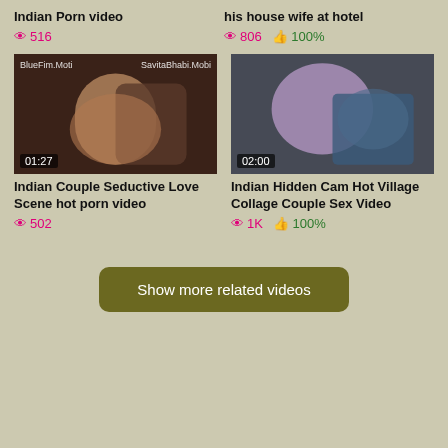Indian Porn video
👁 516
his house wife at hotel
👁 806  👍 100%
[Figure (photo): Video thumbnail - Indian couple, duration 01:27, watermarks BlueFim.Moti and SavitaBhabi.Mobi]
Indian Couple Seductive Love Scene hot porn video
👁 502
[Figure (photo): Video thumbnail - couple scene, duration 02:00]
Indian Hidden Cam Hot Village Collage Couple Sex Video
👁 1K  👍 100%
Show more related videos